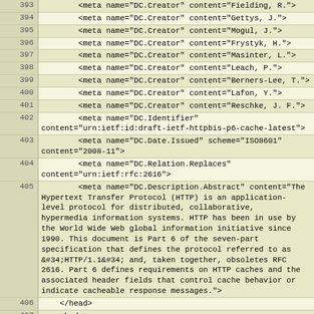| line | code |
| --- | --- |
| 393 | <meta name="DC.Creator" content="Fielding, R."> |
| 394 | <meta name="DC.Creator" content="Gettys, J."> |
| 395 | <meta name="DC.Creator" content="Mogul, J."> |
| 396 | <meta name="DC.Creator" content="Frystyk, H."> |
| 397 | <meta name="DC.Creator" content="Masinter, L."> |
| 398 | <meta name="DC.Creator" content="Leach, P."> |
| 399 | <meta name="DC.Creator" content="Berners-Lee, T."> |
| 400 | <meta name="DC.Creator" content="Lafon, Y."> |
| 401 | <meta name="DC.Creator" content="Reschke, J. F."> |
| 402 | <meta name="DC.Identifier"
content="urn:ietf:id:draft-ietf-httpbis-p6-cache-latest"> |
| 403 | <meta name="DC.Date.Issued" scheme="ISO8601"
content="2008-11"> |
| 404 | <meta name="DC.Relation.Replaces"
content="urn:ietf:rfc:2616"> |
| 405 | <meta name="DC.Description.Abstract" content="The Hypertext Transfer Protocol (HTTP) is an application-level protocol for distributed, collaborative, hypermedia information systems. HTTP has been in use by the World Wide Web global information initiative since 1990. This document is Part 6 of the seven-part specification that defines the protocol referred to as &#34;HTTP/1.1&#34; and, taken together, obsoletes RFC 2616. Part 6 defines requirements on HTTP caches and the associated header fields that control cache behavior or indicate cacheable response messages."> |
| 406 | </head> |
| 407 | <body> |
| 408 | <table summary="header information" class="header"
border="0" cellpadding="1" cellspacing="1"> |
| 409 | <tr> |
| 410 | <td class="header left">Network Working
Group</td> |